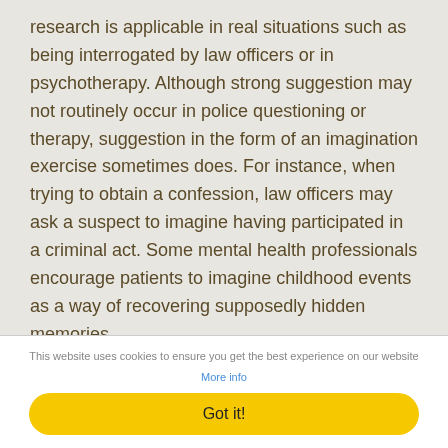research is applicable in real situations such as being interrogated by law officers or in psychotherapy. Although strong suggestion may not routinely occur in police questioning or therapy, suggestion in the form of an imagination exercise sometimes does. For instance, when trying to obtain a confession, law officers may ask a suspect to imagine having participated in a criminal act. Some mental health professionals encourage patients to imagine childhood events as a way of recovering supposedly hidden memories.
This website uses cookies to ensure you get the best experience on our website More info
Got it!